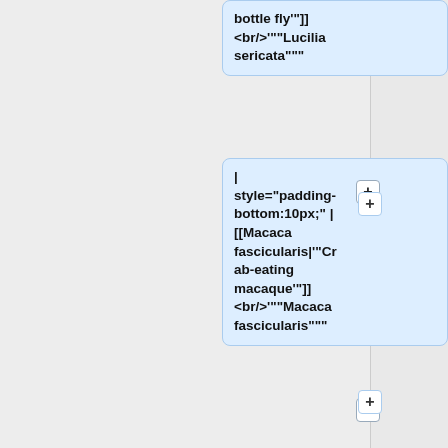bottle fly'"]] <br/>"""Lucilia sericata"""
| style="padding-bottom:10px;" | [[Macaca fascicularis|'"Cr ab-eating macaque'"]] <br/>"""Macaca fascicularis"""
| style="padding-bottom:10px;" | [[Macrobrachium olfersii|'"Giant freshwater prawn'"]] <br/>"""Macrobrachium